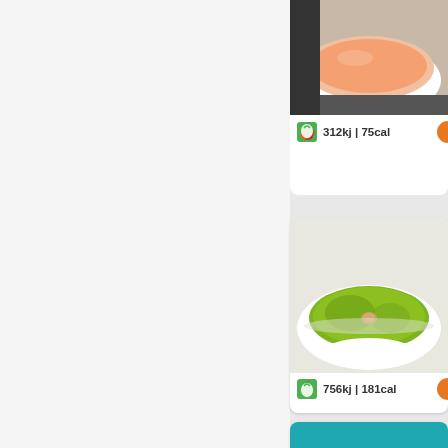[Figure (photo): Recipe card partially visible at top: soup in white bowl (orange/pink soup), calorie info showing 312kj | 75cal with green apple icon and orange circle button]
312kj | 75cal
[Figure (photo): Recipe card: green pea/broccoli soup in white bowl, calorie info showing 756kj | 181cal with green apple icon and orange circle button]
756kj | 181cal
[Figure (photo): Recipe card: creamy brown/tomato soup in white bowl on teal/turquoise cloth, calorie info showing 387kj | 93cal with green apple icon and orange circle button]
387kj | 93cal